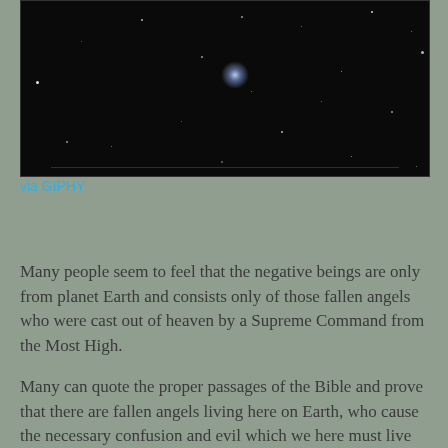[Figure (photo): Dark space/night sky photograph with scattered white stars and a bright glowing object near the center]
via GIPHY
Many people seem to feel that the negative beings are only from planet Earth and consists only of those fallen angels who were cast out of heaven by a Supreme Command from the Most High.
Many can quote the proper passages of the Bible and prove that there are fallen angels living here on Earth, who cause the necessary confusion and evil which we here must live among.